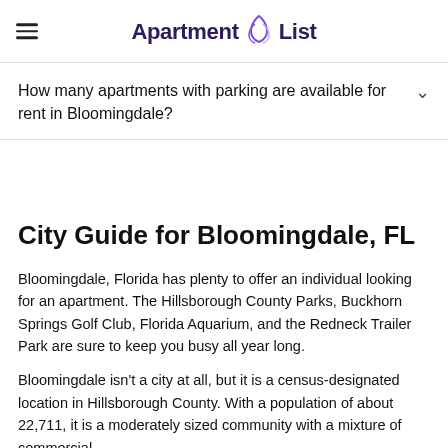Apartment List
How many apartments with parking are available for rent in Bloomingdale?
City Guide for Bloomingdale, FL
Bloomingdale, Florida has plenty to offer an individual looking for an apartment. The Hillsborough County Parks, Buckhorn Springs Golf Club, Florida Aquarium, and the Redneck Trailer Park are sure to keep you busy all year long.
Bloomingdale isn't a city at all, but it is a census-designated location in Hillsborough County. With a population of about 22,711, it is a moderately sized community with a mixture of commercial